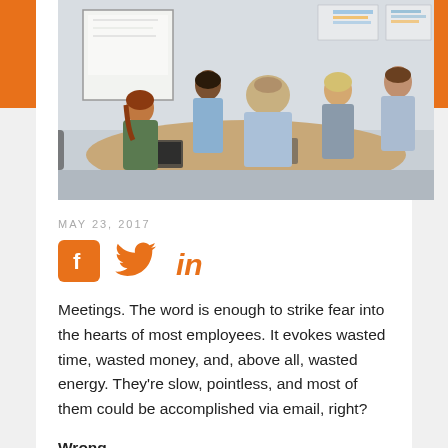[Figure (photo): Business meeting photo showing five professionals seated around a conference table with whiteboard and papers on wall in background]
MAY 23, 2017
[Figure (infographic): Social media share icons: Facebook (orange square with f), Twitter (orange bird), LinkedIn (orange 'in')]
Meetings. The word is enough to strike fear into the hearts of most employees. It evokes wasted time, wasted money, and, above all, wasted energy. They're slow, pointless, and most of them could be accomplished via email, right?
Wrong.
Meetings don't have to be a soul-sucking time waste. If